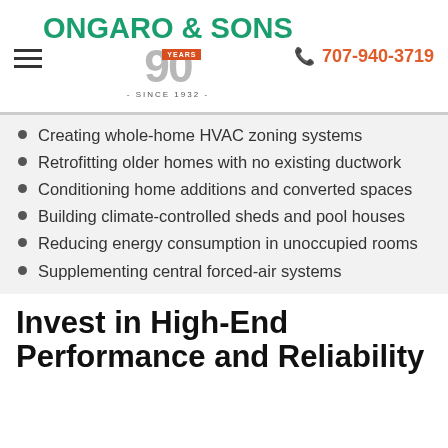[Figure (logo): Ongaro & Sons logo with '90 Years Since 1932' badge]
707-940-3719
Creating whole-home HVAC zoning systems
Retrofitting older homes with no existing ductwork
Conditioning home additions and converted spaces
Building climate-controlled sheds and pool houses
Reducing energy consumption in unoccupied rooms
Supplementing central forced-air systems
Invest in High-End Performance and Reliability